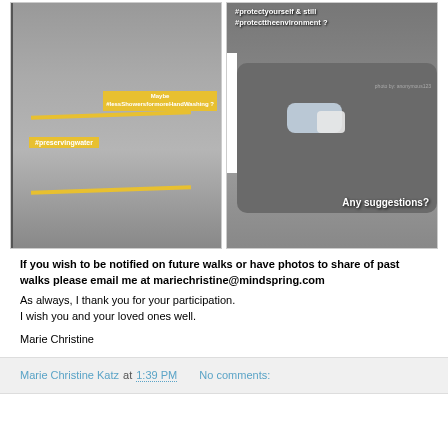[Figure (photo): Two social media photos side by side. Left: a wet sidewalk with yellow lines and text overlays reading 'Maybe #lessShowersformoreHandWashing ?' and '#preservingwater'. Right: a black and white photo of what appears to be a discarded mask or plastic item in sand, with text overlays '#protectyourself & still #protecttheenvironment ?' and 'Any suggestions?']
If you wish to be notified on future walks or have photos to share of past walks please email me at mariechristine@mindspring.com As always, I thank you for your participation. I wish you and your loved ones well.
Marie Christine
Marie Christine Katz at 1:39 PM   No comments: